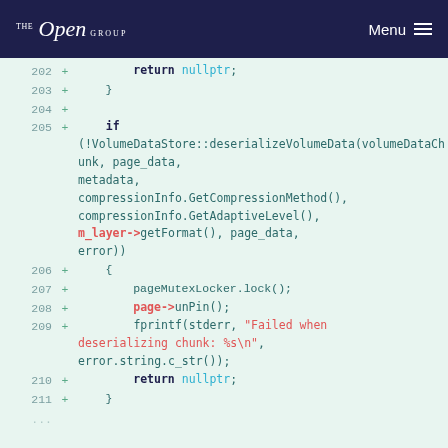THE Open GROUP | Menu
[Figure (screenshot): Code diff view showing lines 202-211 with added lines (green +) in C++ source code. Lines show return nullptr, closing brace, if statement with VolumeDataStore::deserializeVolumeData call, opening brace, pageMutexLocker.lock(), page->unPin(), fprintf with error string, and return nullptr with closing brace.]